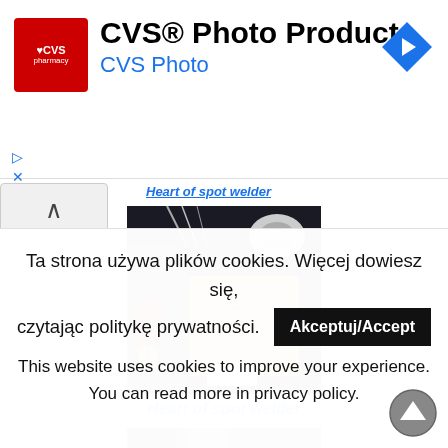[Figure (screenshot): CVS Pharmacy advertisement banner with red logo, 'CVS® Photo Products' title, 'CVS Photo' subtitle in blue, and a blue diamond navigation arrow icon on the right]
[Figure (photo): Photograph of the interior of a spot welder showing transformer, wires, red components and a brass-colored block with warning label]
Heart of spot welder
Ta strona używa plików cookies. Więcej dowiesz się, czytając politykę prywatności.
Akceptuj/Accept
This website uses cookies to improve your experience. You can read more in privacy policy.